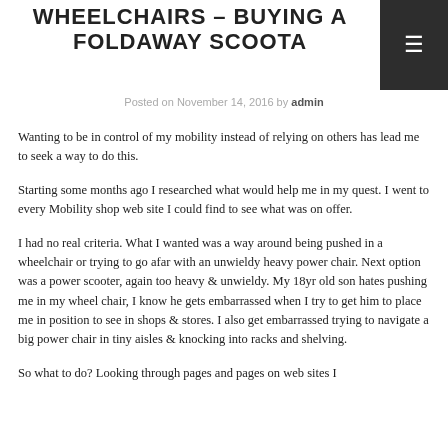WHEELCHAIRS – BUYING A FOLDAWAY SCOOTA
Posted on November 14, 2016 by admin
Wanting to be in control of my mobility instead of relying on others has lead me to seek a way to do this.
Starting some months ago I researched what would help me in my quest. I went to every Mobility shop web site I could find to see what was on offer.
I had no real criteria. What I wanted was a way around being pushed in a wheelchair or trying to go afar with an unwieldy heavy power chair. Next option was a power scooter, again too heavy & unwieldy. My 18yr old son hates pushing me in my wheel chair, I know he gets embarrassed when I try to get him to place me in position to see in shops & stores. I also get embarrassed trying to navigate a big power chair in tiny aisles & knocking into racks and shelving.
So what to do? Looking through pages and pages on web sites I